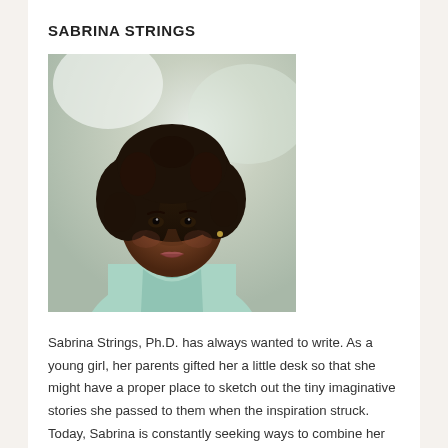SABRINA STRINGS
[Figure (photo): Headshot photo of Sabrina Strings, a woman with natural curly hair wearing a light teal/mint collared shirt, photographed against a bright blurred background.]
Sabrina Strings, Ph.D. has always wanted to write. As a young girl, her parents gifted her a little desk so that she might have a proper place to sketch out the tiny imaginative stories she passed to them when the inspiration struck. Today, Sabrina is constantly seeking ways to combine her love of writing, her passion for yoga, and her devotion to teaching and community service. As a yoga